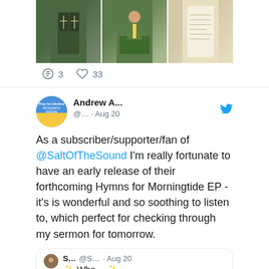[Figure (photo): Three photos in a horizontal strip: a church door with crosses, a priest in green vestments at an altar, and a letter or document page.]
3   33
[Figure (photo): Twitter profile avatar showing blue sky and yellow field (Pray for Ukraine theme).]
Andrew A... @... · Aug 20
As a subscriber/supporter/fan of @SaltOfTheSound I'm really fortunate to have an early release of their forthcoming Hymns for Morningtide EP - it's is wonderful and so soothing to listen to, which perfect for checking through my sermon for tomorrow.
S... @S... · Aug 20 🌟 Wha... 🌟